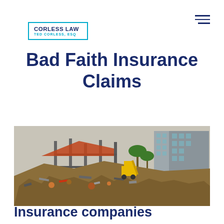CORLESS LAW — TED CORLESS, ESQ
Bad Faith Insurance Claims
[Figure (photo): Aerial/wide view of a building demolition or disaster site with large piles of rubble and debris, damaged structures, palm trees, and modern buildings in the background.]
Insurance companies